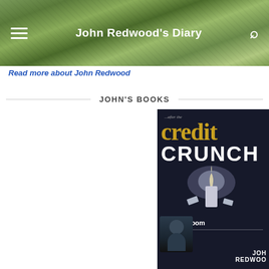John Redwood's Diary
Read more about John Redwood
JOHN'S BOOKS
[Figure (photo): Book cover: '...after the credit crunch' by John Redwood. Dark background with gold and white text. Subtitle: 'no more boom and bust'. Shows a candle being extinguished and author photo at bottom.]